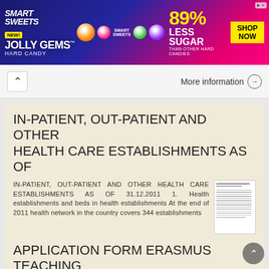[Figure (photo): Smart Sweets Jolly Gems Hard Candy advertisement banner. Blue/pink gradient background with candy imagery, '89% LESS SUGAR THAN OTHER HARD CANDIES' text, and yellow 'SHOP NOW' button.]
More information →
IN-PATIENT, OUT-PATIENT AND OTHER HEALTH CARE ESTABLISHMENTS AS OF
IN-PATIENT, OUT-PATIENT AND OTHER HEALTH CARE ESTABLISHMENTS AS OF 31.12.2011 1. Health establishments and beds in health establishments At the end of 2011 health network in the country covers 344 establishments
More information →
APPLICATION FORM ERASMUS TEACHING ASSIGNMENT (STA)
APPLICATION FORM ERASMUS TEACHING